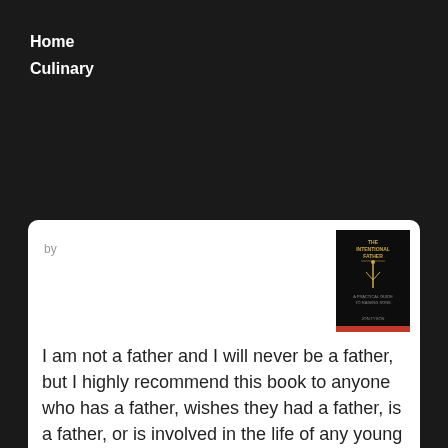Home
Culinary
GOODREADS
by
I am not a father and I will never be a father, but I highly recommend this book to anyone who has a father, wishes they had a father, is a father, or is involved in the life of any young people. This book is written from the perspectiv...
[Figure (photo): Book cover: The Intentional Father, dark cover with small figure/tree icon and gold text]
[Figure (photo): Book cover: partial view of another book, dark cover with blue and red sections]